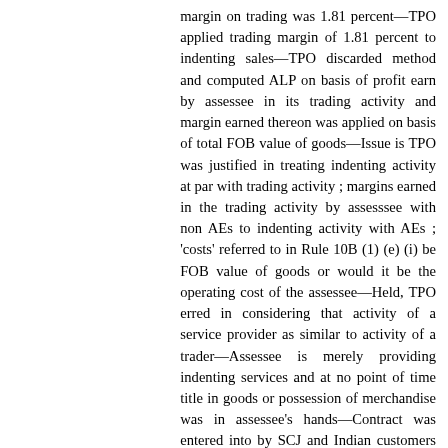margin on trading was 1.81 percent—TPO applied trading margin of 1.81 percent to indenting sales—TPO discarded method and computed ALP on basis of profit earn by assessee in its trading activity and margin earned thereon was applied on basis of total FOB value of goods—Issue is TPO was justified in treating indenting activity at par with trading activity ; margins earned in the trading activity by assesssee with non AEs to indenting activity with AEs ; 'costs' referred to in Rule 10B (1) (e) (i) be FOB value of goods or would it be the operating cost of the assessee—Held, TPO erred in considering that activity of a service provider as similar to activity of a trader—Assessee is merely providing indenting services and at no point of time title in goods or possession of merchandise was in assessee's hands—Contract was entered into by SCJ and Indian customers directly and